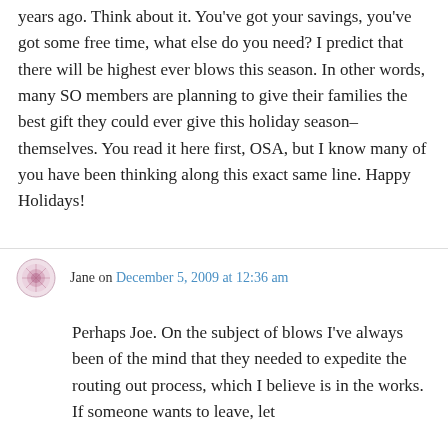years ago. Think about it. You've got your savings, you've got some free time, what else do you need? I predict that there will be highest ever blows this season. In other words, many SO members are planning to give their families the best gift they could ever give this holiday season–themselves. You read it here first, OSA, but I know many of you have been thinking along this exact same line. Happy Holidays!
Jane on December 5, 2009 at 12:36 am
Perhaps Joe. On the subject of blows I've always been of the mind that they needed to expedite the routing out process, which I believe is in the works. If someone wants to leave, let